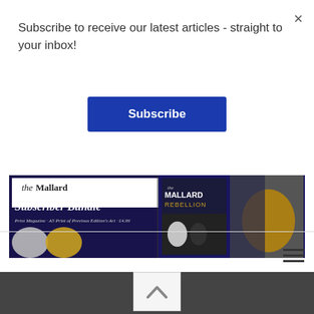Subscribe to receive our latest articles - straight to your inbox!
Subscribe
[Figure (illustration): The Mallard Subscriber Bundle banner image showing masked figures and magazine covers with text: 'the Mallard Subscriber Bundle - Print Magazine + A5 Print of Previous Edition's Art - £4.99' and 'MALLARD REBELLION']
×
[Figure (other): Hamburger menu icon (three horizontal lines)]
[Figure (other): Scroll-to-top button with upward chevron arrow]